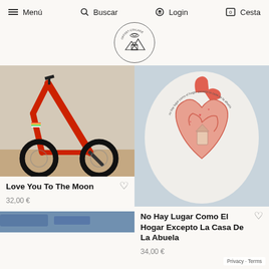≡ Menú  🔍 Buscar  👽 Login  [0] Cesta
[Figure (logo): Offset Collage circular logo with mountains, house, and flying saucer illustration]
[Figure (photo): Close-up of a red bicycle frame with rainbow sticker, black tires on concrete and brick surface]
Love You To The Moon
32,00 €
[Figure (photo): Close-up of a white t-shirt worn by a person showing an anatomical heart illustration in orange/red with text around it reading 'no hay lugar como el hogar excepto la casa de la abuela']
No Hay Lugar Como El Hogar Excepto La Casa De La Abuela
34,00 €
[Figure (photo): Partial view of a product in blue/denim at bottom left]
Privacy · Terms